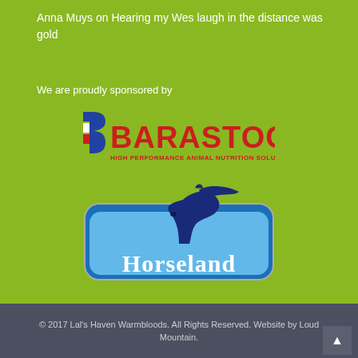Anna Muys on Hearing my Wes laugh in the distance was gold
We are proudly sponsored by
[Figure (logo): Barastoc logo — red text reading BARASTOC with a stylized B in blue, white and red, subtitle: HIGH PERFORMANCE ANIMAL NUTRITION SOLUTIONS in red]
[Figure (logo): Horseland logo — blue rounded rectangle badge with a dark blue horse head graphic above white text reading Horseland on a light blue background]
© 2017 Lal's Haven Warmbloods. All Rights Reserved. Website by Loud Mountain.